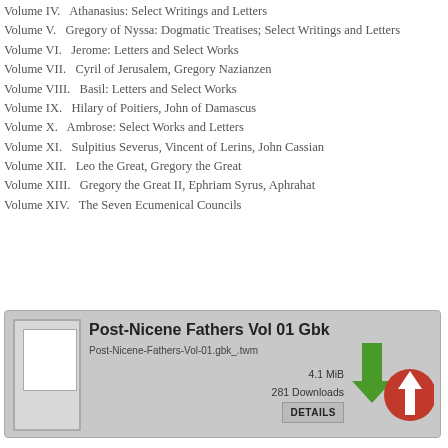Volume IV.   Athanasius: Select Writings and Letters
Volume V.   Gregory of Nyssa: Dogmatic Treatises; Select Writings and Letters
Volume VI.   Jerome: Letters and Select Works
Volume VII.   Cyril of Jerusalem, Gregory Nazianzen
Volume VIII.   Basil: Letters and Select Works
Volume IX.   Hilary of Poitiers, John of Damascus
Volume X.   Ambrose: Select Works and Letters
Volume XI.   Sulpitius Severus, Vincent of Lerins, John Cassian
Volume XII.   Leo the Great, Gregory the Great
Volume XIII.   Gregory the Great II, Ephriam Syrus, Aphrahat
Volume XIV.   The Seven Ecumenical Councils
[Figure (other): Download box for Post-Nicene Fathers Vol 01 Gbk, filename Post-Nicene-Fathers-Vol-01.gbk_.twm, 4.1 MiB, 281 Downloads, DETAILS button with download/upload arrow icons]